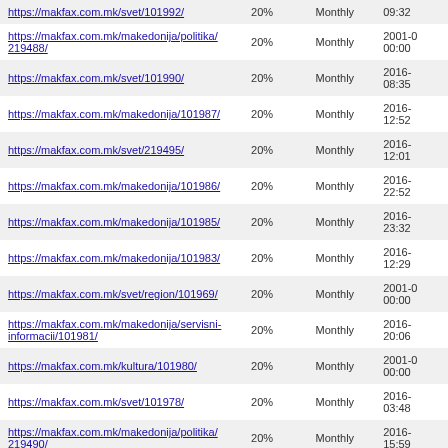| https://makfax.com.mk/svet/101992/ | 20% | Monthly | 09:32 |
| https://makfax.com.mk/makedonija/politika/219488/ | 20% | Monthly | 2001-0 00:00 |
| https://makfax.com.mk/svet/101990/ | 20% | Monthly | 2016- 08:35 |
| https://makfax.com.mk/makedonija/101987/ | 20% | Monthly | 2016- 12:52 |
| https://makfax.com.mk/svet/219495/ | 20% | Monthly | 2016- 12:01 |
| https://makfax.com.mk/makedonija/101986/ | 20% | Monthly | 2016- 22:52 |
| https://makfax.com.mk/makedonija/101985/ | 20% | Monthly | 2016- 23:32 |
| https://makfax.com.mk/makedonija/101983/ | 20% | Monthly | 2016- 12:29 |
| https://makfax.com.mk/svet/region/101969/ | 20% | Monthly | 2001-0 00:00 |
| https://makfax.com.mk/makedonija/servisni-informacii/101981/ | 20% | Monthly | 2016- 20:06 |
| https://makfax.com.mk/kultura/101980/ | 20% | Monthly | 2001-0 00:00 |
| https://makfax.com.mk/svet/101978/ | 20% | Monthly | 2016- 03:48 |
| https://makfax.com.mk/makedonija/politika/219490/ | 20% | Monthly | 2016- 15:59 |